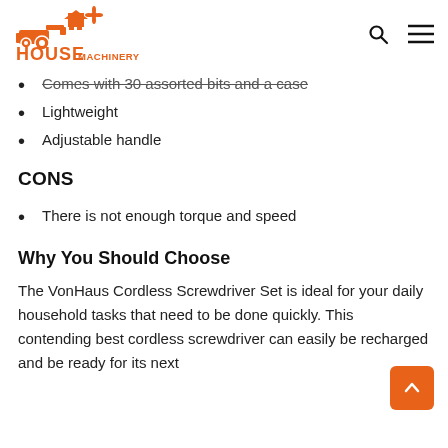HOUSE MACHINERY
Comes with 30 assorted bits and a case
Lightweight
Adjustable handle
CONS
There is not enough torque and speed
Why You Should Choose
The VonHaus Cordless Screwdriver Set is ideal for your daily household tasks that need to be done quickly. This contending best cordless screwdriver can easily be recharged and be ready for its next